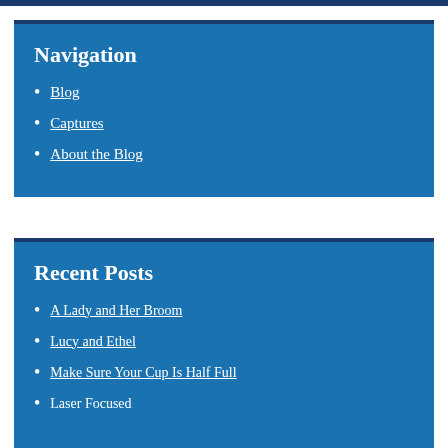Navigation
Blog
Captures
About the Blog
Recent Posts
A Lady and Her Broom
Lucy and Ethel
Make Sure Your Cup Is Half Full
Laser Focused